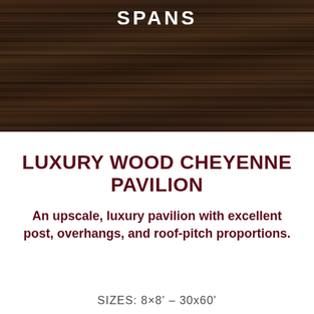SPANS
LUXURY WOOD CHEYENNE PAVILION
An upscale, luxury pavilion with excellent post, overhangs, and roof-pitch proportions.
SIZES: 8×8' – 30x60'